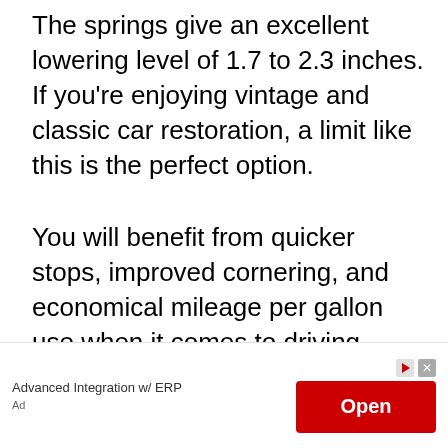The springs give an excellent lowering level of 1.7 to 2.3 inches. If you're enjoying vintage and classic car restoration, a limit like this is the perfect option.
You will benefit from quicker stops, improved cornering, and economical mileage per gallon use when it comes to driving.
Eibach Pro-Kit Springs, along with the
[Figure (other): Advertisement banner with text 'Advanced Integration w/ ERP', an Open button in red, play icon, close icon, and 'Ad' label]